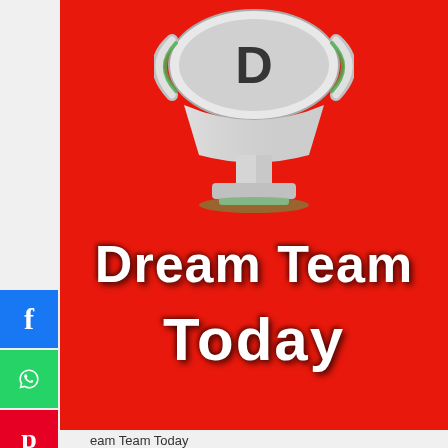[Figure (illustration): Red banner with trophy illustration and text 'Dream Team Today' in white bold font on red background]
eam Team Today
2022 dream11 | dream 11 team today | Dream11 Team today | best eam11 team for today cricket rights reserved.
Home   Contact us